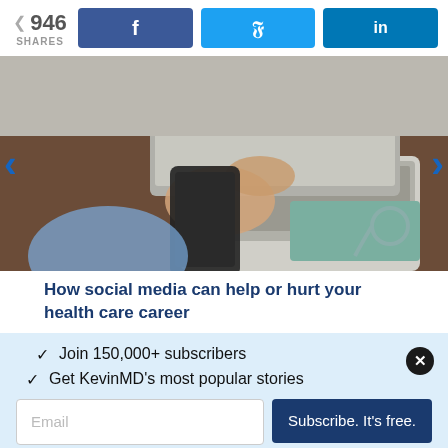946 SHARES
[Figure (photo): Person holding a smartphone next to a laptop on a desk, with a stethoscope visible in the lower right corner]
How social media can help or hurt your health care career
✓  Join 150,000+ subscribers
✓  Get KevinMD's most popular stories
Email | Subscribe. It's free.